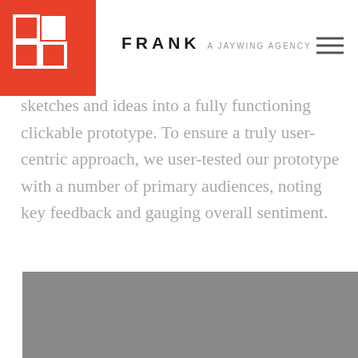FRANK a JAYWING agency
sketches and ideas into a fully functioning clickable prototype. To ensure a truly user-centric approach, we user-tested our prototype with a number of primary audiences, noting key feedback and gauging overall sentiment. Updates were made to language, button placement and product detail layouts to accommodate user feedback and ensure the focus remained on clarity and conversion throughout the shopping experience.
[Figure (photo): Grey image block at the bottom of the page]